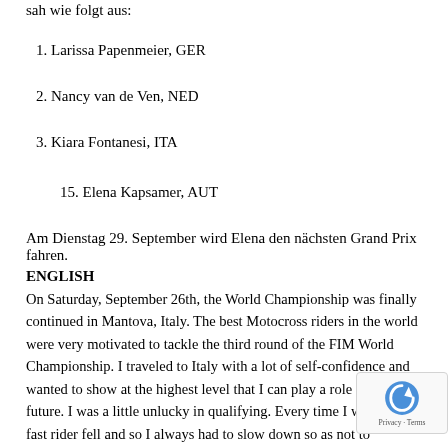sah wie folgt aus:
1. Larissa Papenmeier, GER
2. Nancy van de Ven, NED
3. Kiara Fontanesi, ITA
15. Elena Kapsamer, AUT
Am Dienstag 29. September wird Elena den nächsten Grand Prix fahren.
ENGLISH
On Saturday, September 26th, the World Championship was finally continued in Mantova, Italy. The best Motocross riders in the world were very motivated to tackle the third round of the FIM World Championship. I traveled to Italy with a lot of self-confidence and wanted to show at the highest level that I can play a role in the future. I was a little unlucky in qualifying. Every time I went on a fast rider fell and so I always had to slow down so as not to endanger the crash and myself. In the end, the 22nd best time for me was in the books.